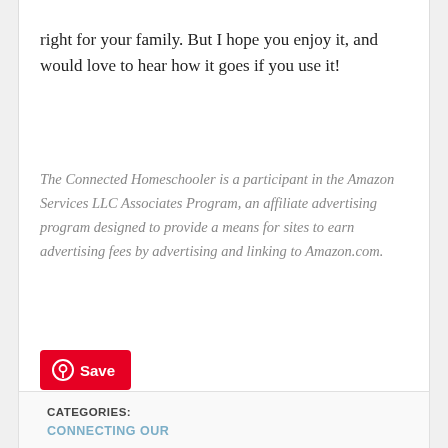right for your family.  But I hope you enjoy it, and would love to hear how it goes if you use it!
The Connected Homeschooler is a participant in the Amazon Services LLC Associates Program, an affiliate advertising program designed to provide a means for sites to earn advertising fees by advertising and linking to Amazon.com.
[Figure (other): Pinterest Save button with Pinterest logo icon and 'Save' text on a red background]
CATEGORIES:
CONNECTING OUR